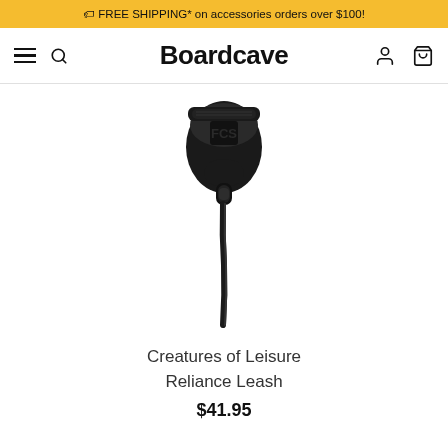🏷 FREE SHIPPING* on accessories orders over $100!
Boardcave
[Figure (photo): Black surfboard leash with ankle cuff and cord, product photo on white background]
Creatures of Leisure
Reliance Leash
$41.95